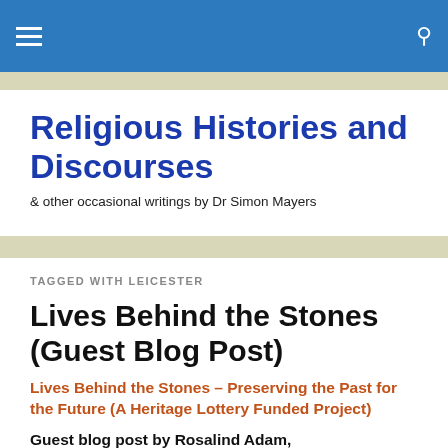Religious Histories and Discourses — navigation header
Religious Histories and Discourses
& other occasional writings by Dr Simon Mayers
TAGGED WITH LEICESTER
Lives Behind the Stones (Guest Blog Post)
Lives Behind the Stones – Preserving the Past for the Future (A Heritage Lottery Funded Project)
Guest blog post by Rosalind Adam,